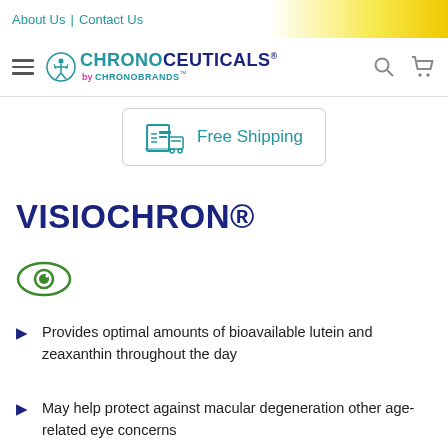About Us | Contact Us
[Figure (logo): ChronoCeuticals by ChronoBrands logo with Vitruvian man icon, search and cart icons]
[Figure (infographic): Free Shipping banner with box/delivery icon]
VISIOCHRON®
[Figure (illustration): Green eye icon]
Provides optimal amounts of bioavailable lutein and zeaxanthin throughout the day
May help protect against macular degeneration other age-related eye concerns